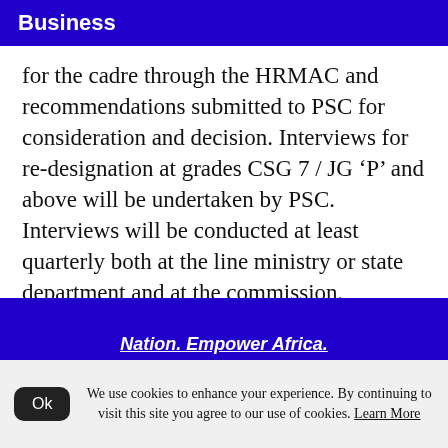Business
for the cadre through the HRMAC and recommendations submitted to PSC for consideration and decision. Interviews for re-designation at grades CSG 7 / JG ‘P’ and above will be undertaken by PSC. Interviews will be conducted at least quarterly both at the line ministry or state department and at the commission.
Nation. Empower Africa.
We use cookies to enhance your experience. By continuing to visit this site you agree to our use of cookies. Learn More